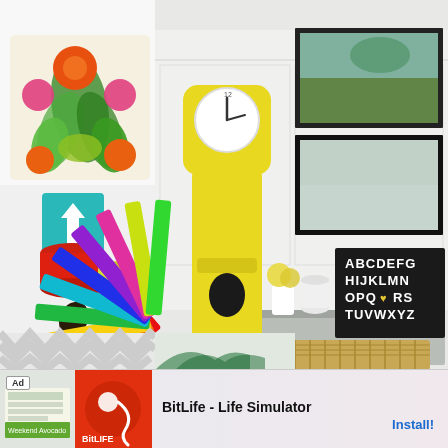[Figure (photo): Interior design collage: colorful floral pillow (top left), yellow grandfather/mora clock against white paneled wall with framed artwork and alphabet sign on mantel/console, paint cans and color swatches with teal upload arrow icon (middle left), grey chevron fabric/wallpaper (bottom left)]
[Figure (infographic): Advertisement banner: Ad label, BitLife app icons, BitLife - Life Simulator text, Install button]